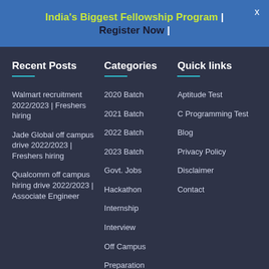India's Biggest Fellowship Program | Register Now |
Recent Posts
Walmart recruitment 2022/2023 | Freshers hiring
Jade Global off campus drive 2022/2023 | Freshers hiring
Qualcomm off campus hiring drive 2022/2023 | Associate Engineer
Categories
2020 Batch
2021 Batch
2022 Batch
2023 Batch
Govt. Jobs
Hackathon
Internship
Interview
Off Campus
Preparation
Quick links
Aptitude Test
C Programming Test
Blog
Privacy Policy
Disclaimer
Contact